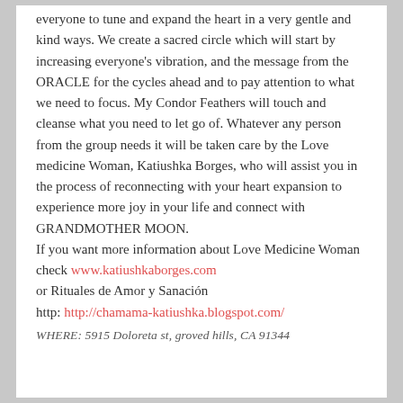everyone to tune and expand the heart in a very gentle and kind ways. We create a sacred circle which will start by increasing everyone's vibration, and the message from the ORACLE for the cycles ahead and to pay attention to what we need to focus. My Condor Feathers will touch and cleanse what you need to let go of. Whatever any person from the group needs it will be taken care by the Love medicine Woman, Katiushka Borges, who will assist you in the process of reconnecting with your heart expansion to experience more joy in your life and connect with GRANDMOTHER MOON.
If you want more information about Love Medicine Woman check www.katiushkaborges.com
or Rituales de Amor y Sanación
http: http://chamama-katiushka.blogspot.com/